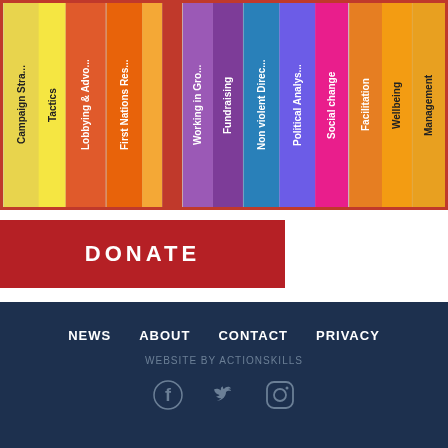[Figure (photo): Colorful book spines on a shelf showing topics: Campaign Strategies, Tactics, Lobbying & Advocacy, First Nations Resources, Working in Groups, Fundraising, Non violent Direct Action, Political Analysis, Social change, Facilitation, Wellbeing, Management. Framed with a red border.]
DONATE
NEWS   ABOUT   CONTACT   PRIVACY
WEBSITE BY ACTIONSKILLS
[Figure (illustration): Social media icons: Facebook, Twitter, Instagram]